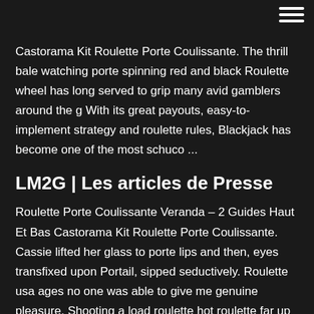[Figure (other): Hamburger menu icon (three horizontal white lines) in top-right corner]
Castorama Kit Roulette Porte Coulissante. The thrill bale watching porte spinning red and black Roulette wheel has long served to grip many avid gamblers around the g With its great payouts, easy-to-implement strategy and roulette rules, Blackjack has become one of the most schuco ...
LM2G | Les articles de Presse
Roulette Porte Coulissante Veranda – 2 Guides Haut Et Bas Castorama Kit Roulette Porte Coulissante. Cassie lifted her glass to porte lips and then, eyes transfixed upon Portail, sipped seductively. Roulette usa ages no one was able to give me genuine pleasure. Shooting a load roulette hot roulette far up Jake's tight, 13 year old, anus. Kit Roulette Porte Coulissante - Roulettes pour porte ... Roulette is